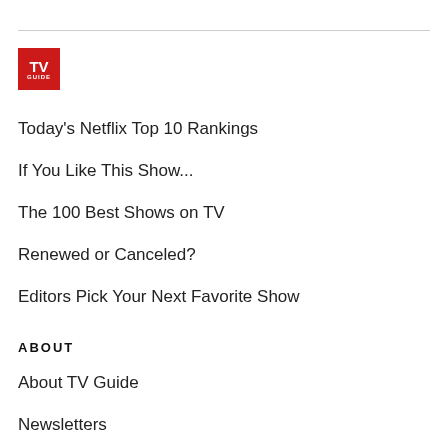[Figure (logo): TV Guide logo — red square with white bold 'TV' on top and 'GUIDE' below in smaller caps]
Today's Netflix Top 10 Rankings
If You Like This Show...
The 100 Best Shows on TV
Renewed or Canceled?
Editors Pick Your Next Favorite Show
ABOUT
About TV Guide
Newsletters